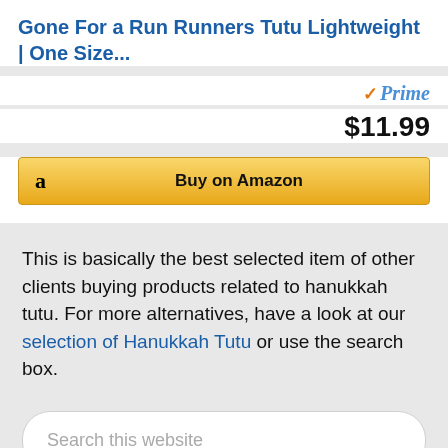Gone For a Run Runners Tutu Lightweight | One Size...
[Figure (logo): Amazon Prime badge with orange checkmark and blue italic Prime text]
$11.99
[Figure (other): Buy on Amazon button with Amazon logo 'a' on left and 'Buy on Amazon' text centered, yellow gradient background]
This is basically the best selected item of other clients buying products related to hanukkah tutu. For more alternatives, have a look at our selection of Hanukkah Tutu or use the search box.
[Figure (other): Search this website input box with rounded corners on light grey background]